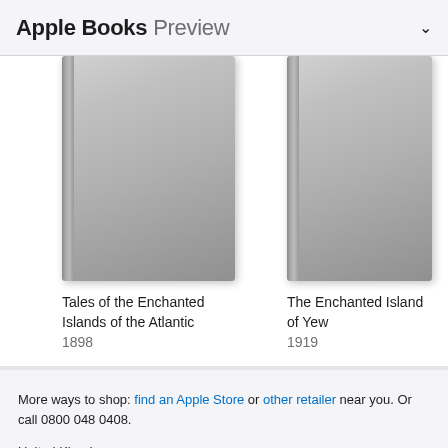Apple Books Preview
[Figure (illustration): Three book covers shown as gray gradient book spines and faces. First book is fully visible, second mostly visible, third partially cropped at right edge.]
Tales of the Enchanted Islands of the Atlantic
1898
The Enchanted Island of Yew
1919
Es...
192...
More ways to shop: find an Apple Store or other retailer near you. Or call 0800 048 0408.
United Kingdom
Copyright © 2022 Apple Inc. All rights reserved.